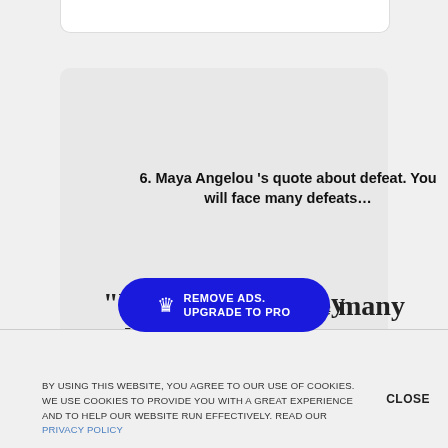6. Maya Angelou ’s quote about defeat. You will face many defeats…
“You will face many defeats... never let yourself be defeated”
[Figure (other): Blue pill-shaped button with crown icon and text REMOVE ADS. UPGRADE TO PRO]
BY USING THIS WEBSITE, YOU AGREE TO OUR USE OF COOKIES. WE USE COOKIES TO PROVIDE YOU WITH A GREAT EXPERIENCE AND TO HELP OUR WEBSITE RUN EFFECTIVELY. READ OUR PRIVACY POLICY
CLOSE